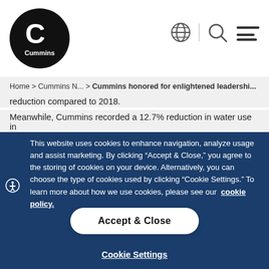[Figure (logo): Cummins logo - black circular logo with white 'C' and 'Cummins' text]
[Figure (other): Navigation icons: globe/language, search magnifier, hamburger menu]
Home > Cummins N... > Cummins honored for enlightened leadershi...
reduction compared to 2018.
Meanwhile, Cummins recorded a 12.7% reduction in water use in
This website uses cookies to enhance navigation, analyze usage and assist marketing. By clicking "Accept & Close," you agree to the storing of cookies on your device. Alternatively, you can choose the type of cookies used by clicking "Cookie Settings." To learn more about how we use cookies, please see our cookie policy.
Accept & Close
Cookie Settings